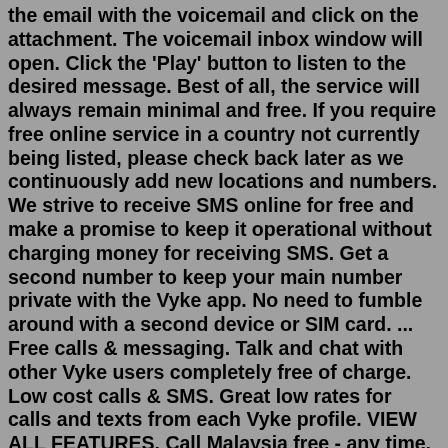the email with the voicemail and click on the attachment. The voicemail inbox window will open. Click the 'Play' button to listen to the desired message. Best of all, the service will always remain minimal and free. If you require free online service in a country not currently being listed, please check back later as we continuously add new locations and numbers. We strive to receive SMS online for free and make a promise to keep it operational without charging money for receiving SMS. Get a second number to keep your main number private with the Vyke app. No need to fumble around with a second device or SIM card. ... Free calls & messaging. Talk and chat with other Vyke users completely free of charge. Low cost calls & SMS. Great low rates for calls and texts from each Vyke profile. VIEW ALL FEATURES. Call Malaysia free - any time, any day. Simply dial 0845 222 6666 + 0060 + the local number. No PINs and No need to register! Call 100s of countries, completely free! If you've signed up to an inclusive calls package with your phone line provider,